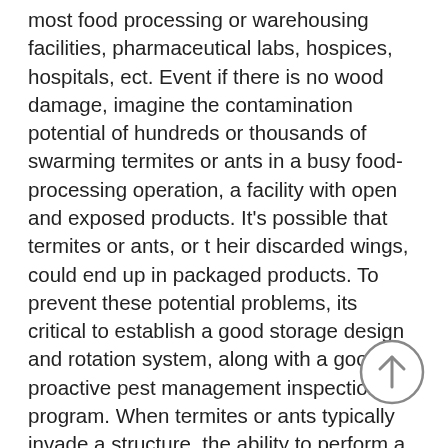most food processing or warehousing facilities, pharmaceutical labs, hospices, hospitals, ect. Event if there is no wood damage, imagine the contamination potential of hundreds or thousands of swarming termites or ants in a busy food-processing operation, a facility with open and exposed products. It's possible that termites or ants, or t heir discarded wings, could end up in packaged products. To prevent these potential problems, its critical to establish a good storage design and rotation system, along with a good proactive pest management inspection program. When termites or ants typically invade a structure, the ability to perform a detailed thorough pest management inspection is critical. Keying in on the exterior floor/wall junctions is important, as is looking for termite mud tubes, trailing ants, sand mounds, etc. This allows a pest
[Figure (other): Circular scroll-to-top button with an upward arrow icon, grey outline circle with grey arrow]